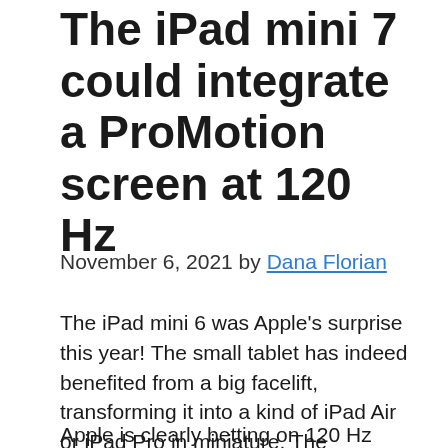The iPad mini 7 could integrate a ProMotion screen at 120 Hz
November 6, 2021 by Dana Florian
The iPad mini 6 was Apple's surprise this year! The small tablet has indeed benefited from a big facelift, transforming it into a kind of iPad Air or iPad Pro in miniature. The manufacturer could still improve the device in the future.
Apple is clearly betting on 120 Hz screens.